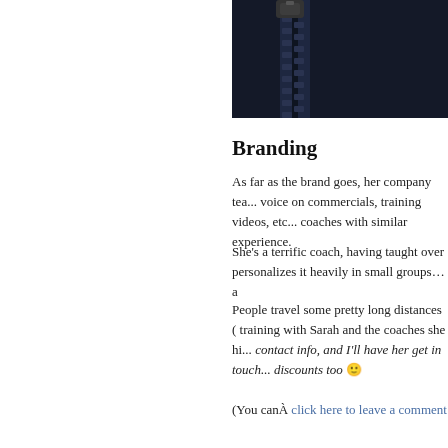[Figure (photo): Close-up photo of a dark navy/black zipper on fabric, cropped at the top of the page]
Branding
As far as the brand goes, her company tea... voice on commercials, training videos, etc... coaches with similar experience.
She's a terrific coach, having taught over ... personalizes it heavily in small groups…a
People travel some pretty long distances (... training with Sarah and the coaches she hi... contact info, and I'll have her get in touch... discounts too 🙂
(You canÂ click here to leave a comment...